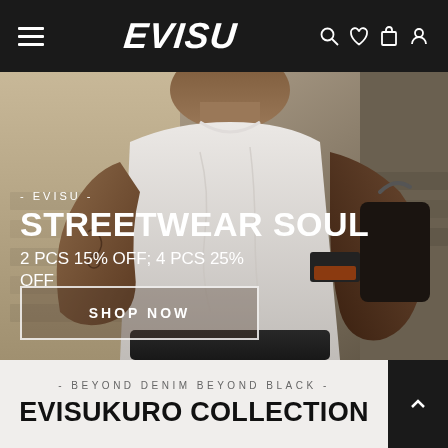EVISU (navigation bar with hamburger menu, logo, search, wishlist, cart, account icons)
[Figure (photo): Hero image of a person from behind wearing a white t-shirt with EVISU label patch, holding a dark item, standing against a grey wall. Text overlay with promotional messaging.]
- EVISU -
STREETWEAR SOUL
2 PCS 15% OFF; 4 PCS 25% OFF
SHOP NOW
- BEYOND DENIM BEYOND BLACK -
EVISUKURO COLLECTION